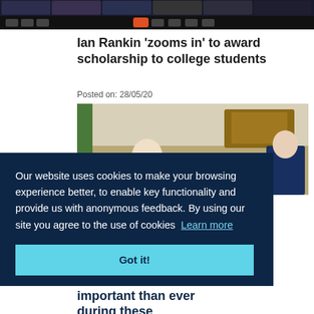[Figure (screenshot): Screenshot of a Zoom video call interface showing multiple participant faces in a grid at the top and a toolbar at the bottom]
Ian Rankin 'zooms in' to award scholarship to college students
Posted on: 28/05/20
[Figure (photo): Photo of a classroom or educational setting, showing a person at a desk with a green board on the left and wall decorations]
Our website uses cookies to make your browsing experience better, to enable key functionality and provide us with anonymous feedback. By using our site you agree to the use of cookies  Learn more
Got it!
important than ever during these unprecedented...